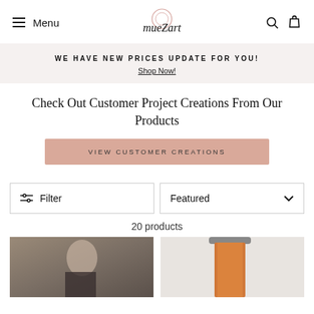Menu | mueZart | Search | Cart
WE HAVE NEW PRICES UPDATE FOR YOU! Shop Now!
Check Out Customer Project Creations From Our Products
VIEW CUSTOMER CREATIONS
Filter
Featured
20 products
[Figure (photo): Woman wearing a scarf outdoors near trees]
[Figure (photo): Orange/terracotta fabric draped over a hanger on a white wall]